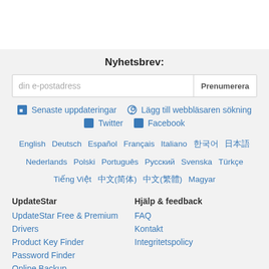Nyhetsbrev:
din e-postadress   Prenumerera
Senaste uppdateringar   Lägg till webbläsaren sökning   Twitter   Facebook
English   Deutsch   Español   Français   Italiano   한국어   日本語   Nederlands   Polski   Português   Русский   Svenska   Türkçe   Tiếng Việt   中文(简体)   中文(繁體)   Magyar
UpdateStar
UpdateStar Free & Premium
Drivers
Product Key Finder
Password Finder
Online Backup
Hjälp & feedback
FAQ
Kontakt
Integritetspolicy